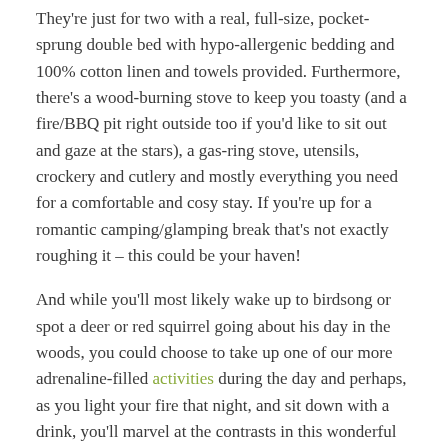They're just for two with a real, full-size, pocket-sprung double bed with hypo-allergenic bedding and 100% cotton linen and towels provided. Furthermore, there's a wood-burning stove to keep you toasty (and a fire/BBQ pit right outside too if you'd like to sit out and gaze at the stars), a gas-ring stove, utensils, crockery and cutlery and mostly everything you need for a comfortable and cosy stay. If you're up for a romantic camping/glamping break that's not exactly roughing it – this could be your haven!
And while you'll most likely wake up to birdsong or spot a deer or red squirrel going about his day in the woods, you could choose to take up one of our more adrenaline-filled activities during the day and perhaps, as you light your fire that night, and sit down with a drink, you'll marvel at the contrasts in this wonderful spot all the more.. Or if you'd like to indulge in a gentler pursuit, there are breathtaking walks along the river Findhorn to Logie Steading where you'll be able to pick up delicious food to bring back to your hut, and you'll find an excellent cafe, art, crafts, books and more to peruse, and you can organise a private whisky or Scottish gin tasting there too.